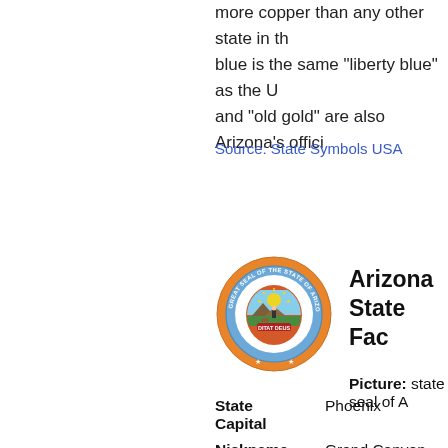more copper than any other state in the blue is the same "liberty blue" as the U and "old gold" are also Arizona's officia
Source: State Symbols USA
[Figure (logo): Arizona state seal — circular seal with orange border and blue inner ring, featuring a shield with mountains, sun, miner, and cattle, dated 1912, with text 'GREAT SEAL OF THE STATE OF ARIZONA' and motto 'DITAT DEUS']
Arizona State Fac

Picture: state seal of A
| Field | Value |
| --- | --- |
| State Capital | Phoenix |
| Nickname | Grand Canyon State |
| Motto | Ditat Deus (God enriches |
| Statehood | February 14, 1912 (48th) |
| Origin | Capitol letters on a map h |